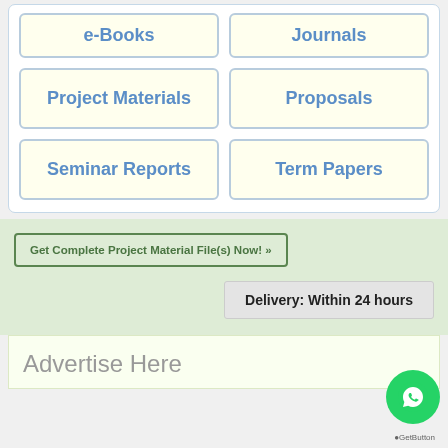e-Books
Journals
Project Materials
Proposals
Seminar Reports
Term Papers
Get Complete Project Material File(s) Now! »
Delivery: Within 24 hours
Advertise Here